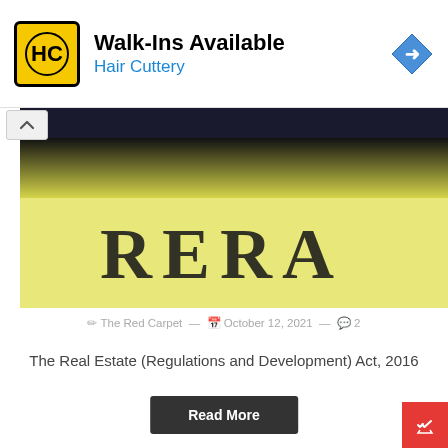[Figure (advertisement): Hair Cuttery advertisement banner with yellow/black HC logo, text 'Walk-Ins Available' and 'Hair Cuttery', blue navigation arrow icon on right]
[Figure (photo): Close-up photograph of a document or sign showing 'RERA' text in dark letters on a yellow background, with dark area at top]
The Red Carpet — October 12, 2021 — 2
The Real Estate (Regulations and Development) Act, 2016
Read More